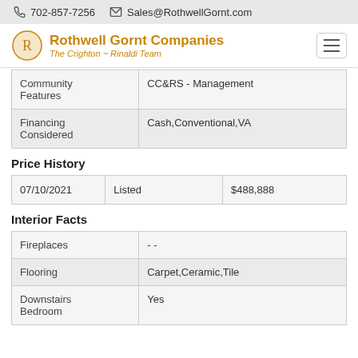702-857-7256   Sales@RothwellGornt.com
[Figure (logo): Rothwell Gornt Companies logo with text 'The Crighton ~ Rinaldi Team']
| Community Features | CC&RS - Management |
| Financing Considered | Cash,Conventional,VA |
Price History
| 07/10/2021 | Listed | $488,888 |
Interior Facts
| Fireplaces | - - |
| Flooring | Carpet,Ceramic,Tile |
| Downstairs Bedroom | Yes |